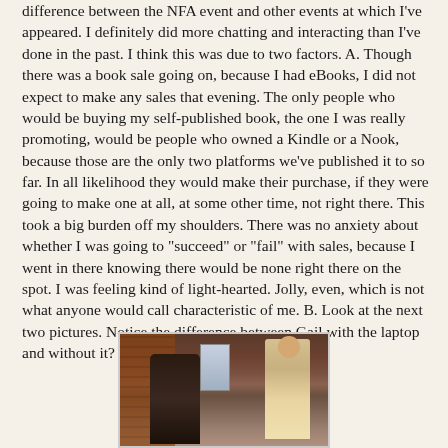difference between the NFA event and other events at which I've appeared. I definitely did more chatting and interacting than I've done in the past. I think this was due to two factors. A. Though there was a book sale going on, because I had eBooks, I did not expect to make any sales that evening. The only people who would be buying my self-published book, the one I was really promoting, would be people who owned a Kindle or a Nook, because those are the only two platforms we've published it to so far. In all likelihood they would make their purchase, if they were going to make one at all, at some other time, not right there. This took a big burden off my shoulders. There was no anxiety about whether I was going to "succeed" or "fail" with sales, because I went in there knowing there would be none right there on the spot. I was feeling kind of light-hearted. Jolly, even, which is not what anyone would call characteristic of me. B. Look at the next two pictures. Notice the difference between Gail with the laptop and without it?
[Figure (photo): A photograph showing people at what appears to be an indoor event. A tall person is visible on the right side, with other figures in the foreground. Brick wall visible on the left, window in the background.]